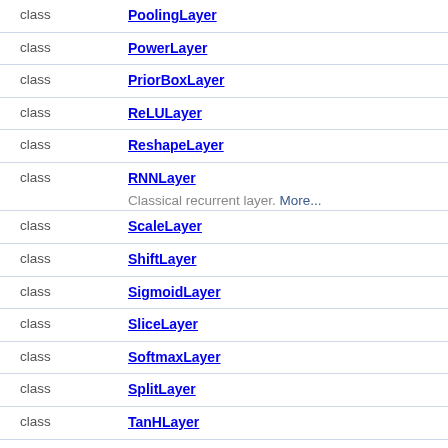| kind | name | description |
| --- | --- | --- |
| class | PoolingLayer |  |
| class | PowerLayer |  |
| class | PriorBoxLayer |  |
| class | ReLULayer |  |
| class | ReshapeLayer |  |
| class | RNNLayer | Classical recurrent layer. More... |
| class | ScaleLayer |  |
| class | ShiftLayer |  |
| class | SigmoidLayer |  |
| class | SliceLayer |  |
| class | SoftmaxLayer |  |
| class | SplitLayer |  |
| class | TanHLayer |  |
Typedefs
| typedef | name |
| --- | --- |
| typedef std::vector< int > | MatShape |
Enumerations